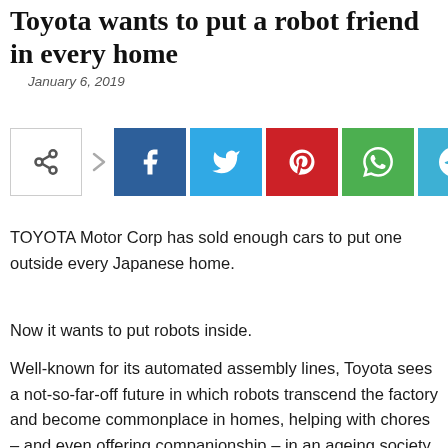Toyota wants to put a robot friend in every home
January 6, 2019
[Figure (other): Social share bar with native share button and buttons for Facebook, Twitter, Pinterest, WhatsApp, and Telegram]
TOYOTA Motor Corp has sold enough cars to put one outside every Japanese home.
Now it wants to put robots inside.
Well-known for its automated assembly lines, Toyota sees a not-so-far-off future in which robots transcend the factory and become commonplace in homes, helping with chores – and even offering companionship – in an ageing society where a quarter of the population is over 65 and millions of seniors live alone.